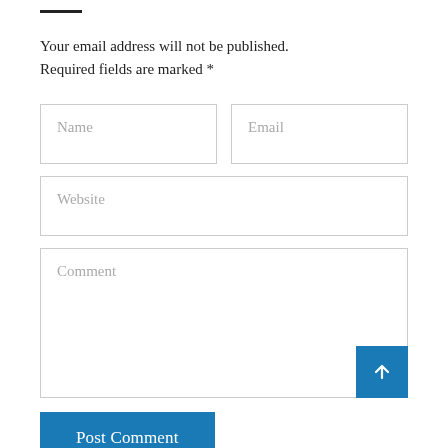Your email address will not be published. Required fields are marked *
[Figure (other): Comment form with Name, Email, Website, Comment input fields and a Post Comment button]
Post Comment